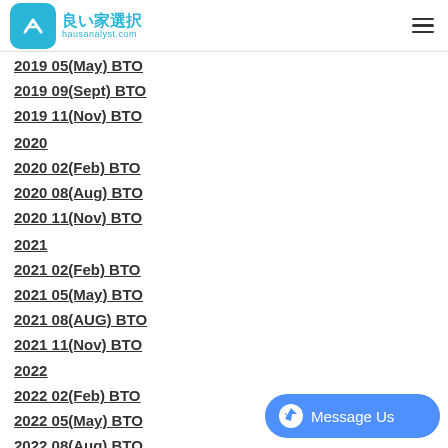良い家選択 hausanalyst.com
2019 05(May) BTO
2019 09(Sept) BTO
2019 11(Nov) BTO
2020
2020 02(Feb) BTO
2020 08(Aug) BTO
2020 11(Nov) BTO
2021
2021 02(Feb) BTO
2021 05(May) BTO
2021 08(AUG) BTO
2021 11(Nov) BTO
2022
2022 02(Feb) BTO
2022 05(May) BTO
2022 08(Aug) BTO
[Figure (other): Messenger 'Message Us' button in bottom right corner]